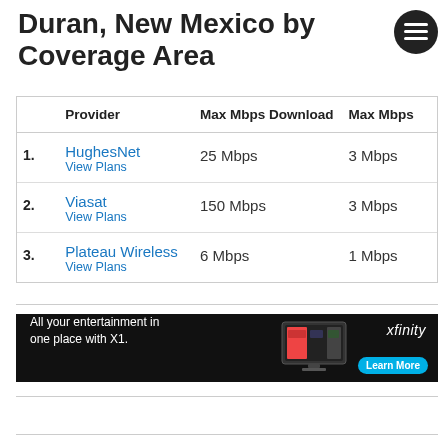Duran, New Mexico by Coverage Area
|  | Provider | Max Mbps Download | Max Mbps |
| --- | --- | --- | --- |
| 1. | HughesNet
View Plans | 25 Mbps | 3 Mbps |
| 2. | Viasat
View Plans | 150 Mbps | 3 Mbps |
| 3. | Plateau Wireless
View Plans | 6 Mbps | 1 Mbps |
[Figure (other): Xfinity advertisement banner: 'All your entertainment in one place with X1.' with TV graphic and Learn More button]